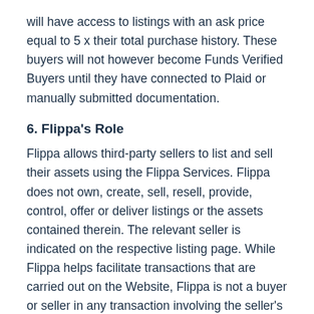will have access to listings with an ask price equal to 5 x their total purchase history. These buyers will not however become Funds Verified Buyers until they have connected to Plaid or manually submitted documentation.
6. Flippa's Role
Flippa allows third-party sellers to list and sell their assets using the Flippa Services. Flippa does not own, create, sell, resell, provide, control, offer or deliver listings or the assets contained therein. The relevant seller is indicated on the respective listing page. While Flippa helps facilitate transactions that are carried out on the Website, Flippa is not a buyer or seller in any transaction involving the seller's assets or any other transaction among users of the Services.